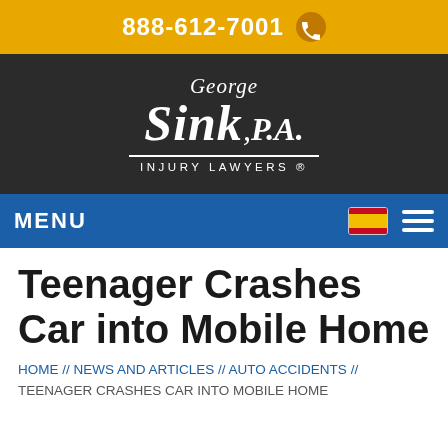888-612-7001
[Figure (logo): George Sink, P.A. Injury Lawyers logo in white text on dark background]
MENU
Teenager Crashes Car into Mobile Home
HOME // NEWS AND ARTICLES // AUTO ACCIDENTS // TEENAGER CRASHES CAR INTO MOBILE HOME